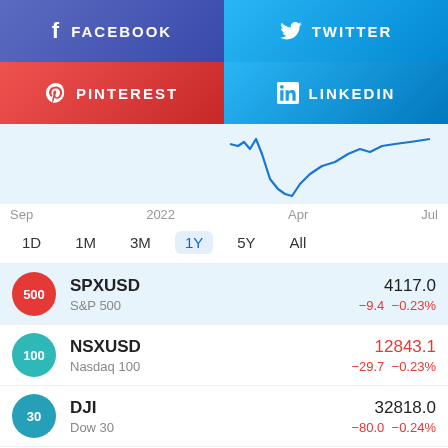[Figure (infographic): Social media share buttons: Facebook (purple-blue), Twitter (light blue), Pinterest (red), LinkedIn (blue)]
[Figure (continuous-plot): Stock market line chart (partial view) showing price trend from Sep 2021 to Jul 2022, with a significant dip and partial recovery visible on the right side.]
Sep   2022   Apr   Jul
1D  1M  3M  1Y  5Y  All
| Badge | Ticker | Full Name | Price | Change |
| --- | --- | --- | --- | --- |
| 500 | SPXUSD | S&P 500 | 4117.0 | −9.4  −0.23% |
| 100 | NSXUSD | Nasdaq 100 | 12843.1 | −29.7  −0.23% |
| 30 | DJI | Dow 30 | 32818.0 | −80.0  −0.24% |
| 225 | NKY E | Nikkei 225 | 28452.75 |  |